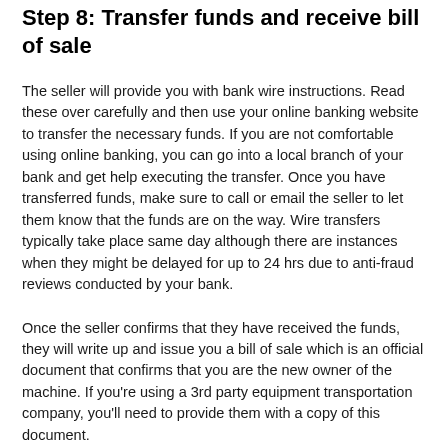Step 8: Transfer funds and receive bill of sale
The seller will provide you with bank wire instructions. Read these over carefully and then use your online banking website to transfer the necessary funds. If you are not comfortable using online banking, you can go into a local branch of your bank and get help executing the transfer. Once you have transferred funds, make sure to call or email the seller to let them know that the funds are on the way. Wire transfers typically take place same day although there are instances when they might be delayed for up to 24 hrs due to anti-fraud reviews conducted by your bank.
Once the seller confirms that they have received the funds, they will write up and issue you a bill of sale which is an official document that confirms that you are the new owner of the machine. If you're using a 3rd party equipment transportation company, you'll need to provide them with a copy of this document.
Step 9: Coordinate transport and receive equipment